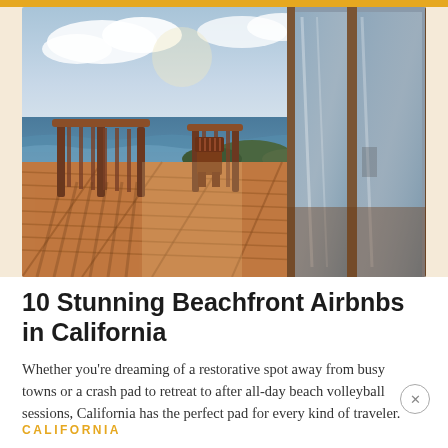[Figure (photo): Beachfront deck with wooden planks, railing overlooking the ocean with waves, Adirondack chairs, and large glass sliding doors reflecting the view]
10 Stunning Beachfront Airbnbs in California
Whether you're dreaming of a restorative spot away from busy towns or a crash pad to retreat to after all-day beach volleyball sessions, California has the perfect pad for every kind of traveler.
CALIFORNIA